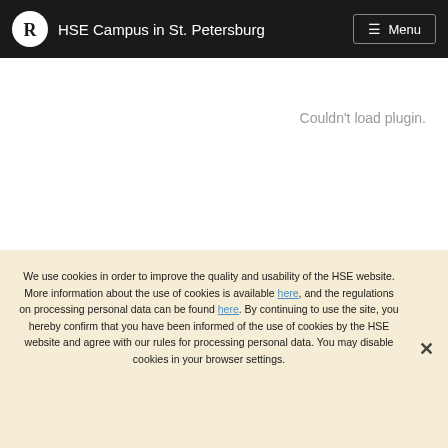HSE Campus in St. Petersburg  ☰ Menu
Couldn't load plugin.
We use cookies in order to improve the quality and usability of the HSE website. More information about the use of cookies is available here, and the regulations on processing personal data can be found here. By continuing to use the site, you hereby confirm that you have been informed of the use of cookies by the HSE website and agree with our rules for processing personal data. You may disable cookies in your browser settings.